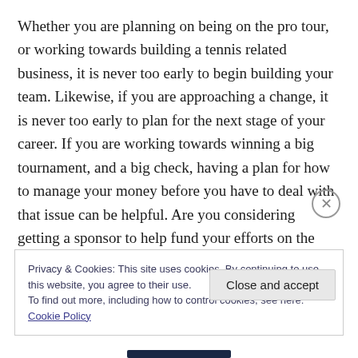Whether you are planning on being on the pro tour, or working towards building a tennis related business, it is never too early to begin building your team. Likewise, if you are approaching a change, it is never too early to plan for the next stage of your career. If you are working towards winning a big tournament, and a big check, having a plan for how to manage your money before you have to deal with that issue can be helpful. Are you considering getting a sponsor to help fund your efforts on the tour until you have an opportunity to make some
Privacy & Cookies: This site uses cookies. By continuing to use this website, you agree to their use.
To find out more, including how to control cookies, see here: Cookie Policy
Close and accept